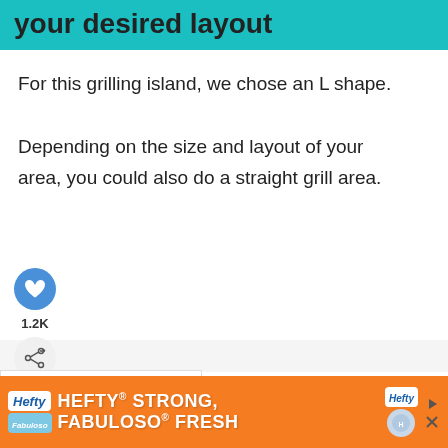your desired layout
For this grilling island, we chose an L shape. Depending on the size and layout of your area, you could also do a straight grill area.
[Figure (infographic): Heart/like button showing 1.2K likes, and a share button below it]
[Figure (infographic): What's Next promo box: Calm Master Bathroom: A... with circular thumbnail photo]
[Figure (infographic): Hefty advertisement banner: HEFTY STRONG, FABULOSO FRESH in orange and white colors]